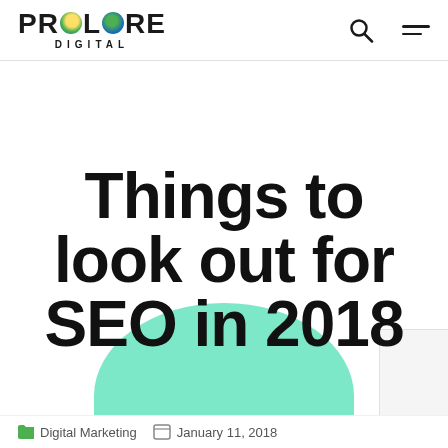PROLARE DIGITAL
Things to look out for SEO in 2018
Digital Marketing   January 11, 2018